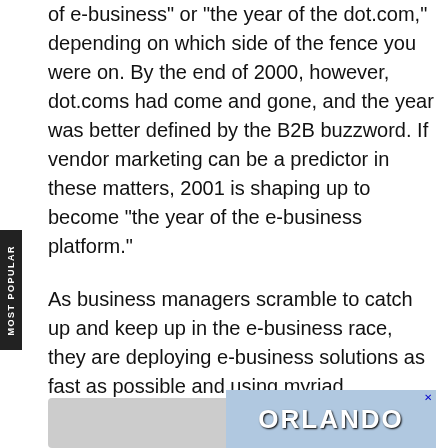of e-business" or "the year of the dot.com," depending on which side of the fence you were on. By the end of 2000, however, dot.coms had come and gone, and the year was better defined by the B2B buzzword. If vendor marketing can be a predictor in these matters, 2001 is shaping up to become "the year of the e-business platform."
As business managers scramble to catch up and keep up in the e-business race, they are deploying e-business solutions as fast as possible and using myriad technologies, vendors, platforms and service providers just to get to market. Once they implement an e-business solution, however, the inevitable occurs: It needs to be maintained; it needs to be changed; it needs to integrate additional data sources and functionality from other applications; and it needs to become the foundation for the next generation of e-business solutions.
[Figure (photo): Partial image of a person on the bottom left and an advertisement for Orlando on the bottom right with a blue sky background.]